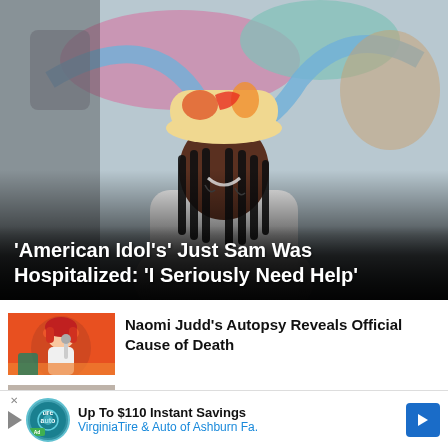[Figure (photo): Person wearing a colorful bucket hat with tattoos, smiling, seated in front of abstract colorful artwork background. Overlay text headline visible.]
'American Idol's' Just Sam Was Hospitalized: 'I Seriously Need Help'
[Figure (photo): Woman with red hair performing on stage, wearing white outfit, holding microphone, orange/green background.]
Naomi Judd's Autopsy Reveals Official Cause of Death
[Figure (photo): Couple at an event — man in dark shirt and woman, posing in front of a backdrop.]
Video! Jennifer Lopez Performed a Song for Ben Affleck at Their Wedding
Up To $110 Instant Savings
VirginiaTire & Auto of Ashburn Fa.